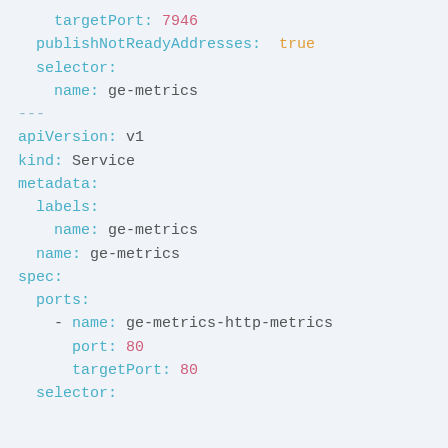targetPort: 7946
  publishNotReadyAddresses: true
  selector:
    name: ge-metrics
---
apiVersion: v1
kind: Service
metadata:
  labels:
    name: ge-metrics
  name: ge-metrics
spec:
  ports:
    - name: ge-metrics-http-metrics
      port: 80
      targetPort: 80
  selector: